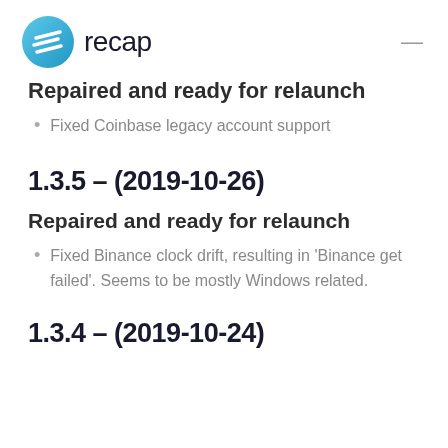recap
Repaired and ready for relaunch
Fixed Coinbase legacy account support
1.3.5 – (2019-10-26)
Repaired and ready for relaunch
Fixed Binance clock drift, resulting in 'Binance get failed'. Seems to be mostly Windows related.
1.3.4 – (2019-10-24)